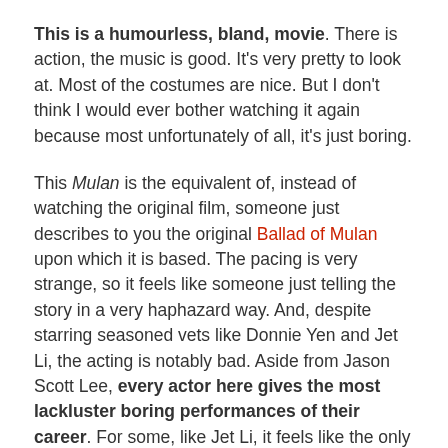This is a humourless, bland, movie. There is action, the music is good. It's very pretty to look at. Most of the costumes are nice. But I don't think I would ever bother watching it again because most unfortunately of all, it's just boring.
This Mulan is the equivalent of, instead of watching the original film, someone just describes to you the original Ballad of Mulan upon which it is based. The pacing is very strange, so it feels like someone just telling the story in a very haphazard way. And, despite starring seasoned vets like Donnie Yen and Jet Li, the acting is notably bad. Aside from Jason Scott Lee, every actor here gives the most lackluster boring performances of their career. For some, like Jet Li, it feels like the only filmed one take before he just walked off set and